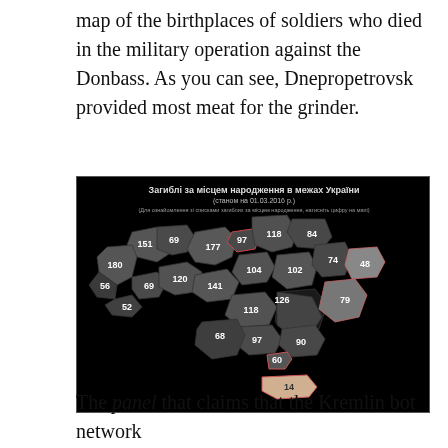map of the birthplaces of soldiers who died in the military operation against the Donbass. As you can see, Dnepropetrovsk provided most meat for the grinder.
[Figure (map): Map of Ukraine showing the number of fallen soldiers by region of birth as of 01.03.2016. Title in Ukrainian: 'Загиблі за місцем народження в межах України (станом на 01.03.2016 р.)'. Regions labeled with numbers: 151, 69, 177, 97, 118, 84, 180, 69, 120, 141, 104, 102, 74, 56, 73, 52, 118, 126, 359, 48, 79, 68, 97, 90, 60, 14. Dnepropetrovsk region (359) is the darkest/highest. Crimea shown lighter with 14.]
The panel that claims that the Kremlin bot network